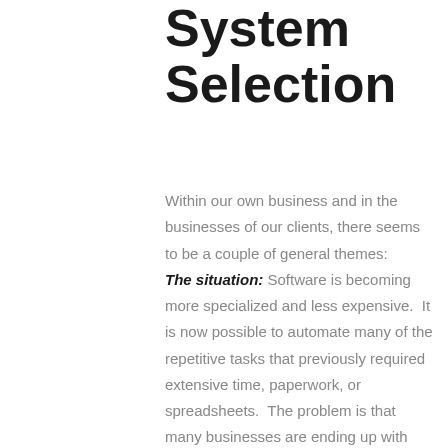System Selection
Within our own business and in the businesses of our clients, there seems to be a couple of general themes:
The situation: Software is becoming more specialized and less expensive.  It is now possible to automate many of the repetitive tasks that previously required extensive time, paperwork, or spreadsheets.  The problem is that many businesses are ending up with fragmented systems that do not talk effectively to each other.  There are more and more developers with the skills and tools to bridge these gaps, but often this decision is equivalent to placing a band-aid on a flood (along the...